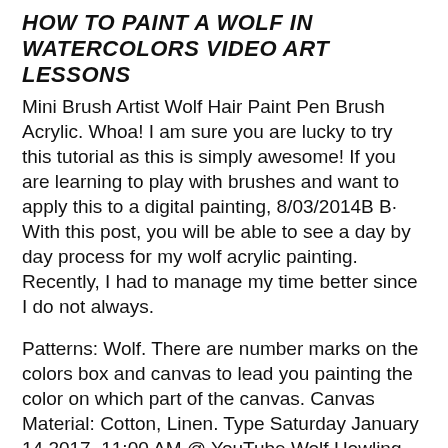HOW TO PAINT A WOLF IN WATERCOLORS VIDEO ART LESSONS
Mini Brush Artist Wolf Hair Paint Pen Brush Acrylic. Whoa! I am sure you are lucky to try this tutorial as this is simply awesome! If you are learning to play with brushes and want to apply this to a digital painting, 8/03/2014B B· With this post, you will be able to see a day by day process for my wolf acrylic painting. Recently, I had to manage my time better since I do not always.
Patterns: Wolf. There are number marks on the colors box and canvas to lead you painting the color on which part of the canvas. Canvas Material: Cotton, Linen. Type Saturday January 14 2017, 11:00 AM @ YouTube Wolf Howling acrylic painting tutorial for begining and new